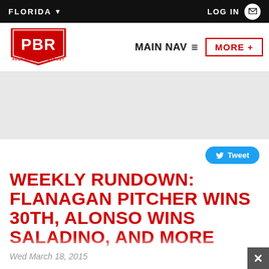FLORIDA ▼   LOG IN
[Figure (logo): PBR Prep Baseball Report logo — red shield with PBR text in white]
MAIN NAV ≡   MORE +
[Figure (other): Gray advertisement/banner zone]
[Figure (other): Tweet button (Twitter/X blue pill button)]
WEEKLY RUNDOWN: FLANAGAN PITCHER WINS 30TH, ALONSO WINS SALADINO, AND MORE
Wed March 18, 2015